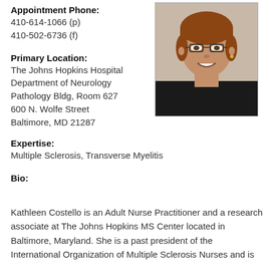Appointment Phone:
410-614-1066 (p)
410-502-6736 (f)
Primary Location:
The Johns Hopkins Hospital
Department of Neurology
Pathology Bldg, Room 627
600 N. Wolfe Street
Baltimore, MD 21287
[Figure (photo): Professional headshot photo of a woman with short brown hair wearing glasses and a dark top, smiling at the camera.]
Expertise:
Multiple Sclerosis, Transverse Myelitis
Bio:
Kathleen Costello is an Adult Nurse Practitioner and a research associate at The Johns Hopkins MS Center located in Baltimore, Maryland. She is a past president of the International Organization of Multiple Sclerosis Nurses and is